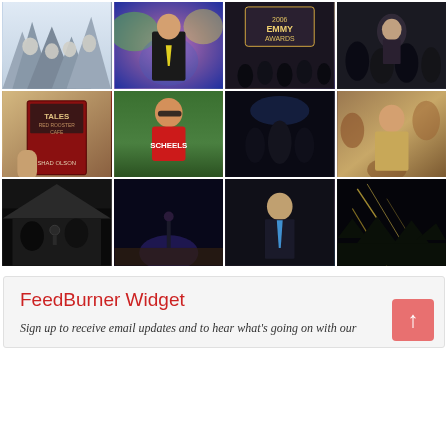[Figure (photo): 3x4 grid of photos: Mt. Rushmore, news anchor on colorful set, Emmy Awards ceremony crowd, person speaking to crowd, person holding 'Tales of Red Rooster Cafe by Shad Olson' book, man in SCHEELS cycling jersey, dark indoor social gathering, man in tan blazer outdoors in leaves, people in recording/radio studio, dark empty stage with spotlight, man in dark suit with blue tie speaking, night scene with streaks of light]
FeedBurner Widget
Sign up to receive email updates and to hear what's going on with our